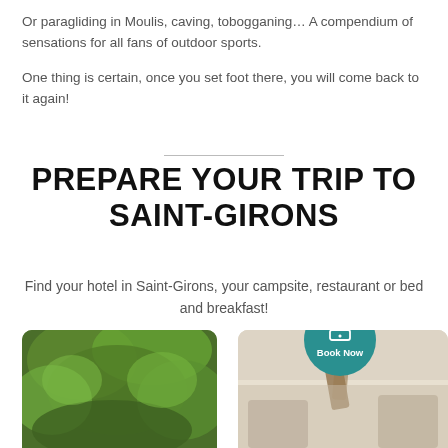Or paragliding in Moulis, caving, tobogganing… A compendium of sensations for all fans of outdoor sports.
One thing is certain, once you set foot there, you will come back to it again!
PREPARE YOUR TRIP TO SAINT-GIRONS
Find your hotel in Saint-Girons, your campsite, restaurant or bed and breakfast!
[Figure (photo): Green foliage / tree canopy photo]
[Figure (photo): Interior room photo with exposed beam ceiling, with a teal 'Book Now' circular button overlay]